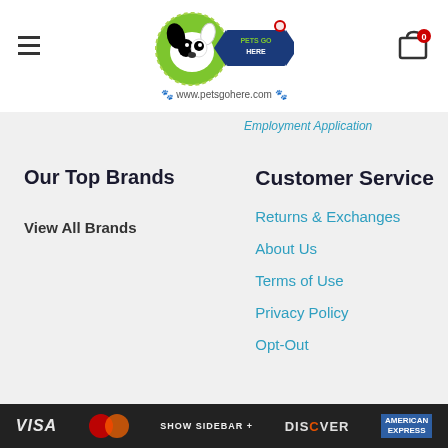PETS GO HERE — www.petsgohere.com
Employment Application
Our Top Brands
View All Brands
Customer Service
Returns & Exchanges
About Us
Terms of Use
Privacy Policy
Opt-Out
Shop With Confidence
We accept the following payment methods
VISA  [Mastercard]  SHOW SIDEBAR +  DISCOVER  [American Express]